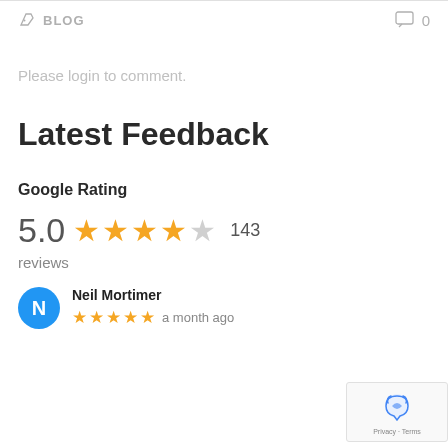BLOG  0
Please login to comment.
Latest Feedback
Google Rating
5.0  ★★★★☆  143
reviews
Neil Mortimer  ★★★★★  a month ago